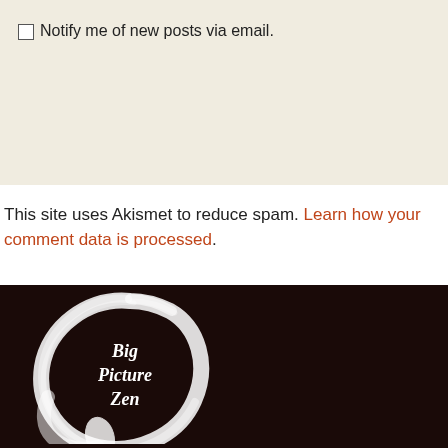Notify me of new posts via email.
This site uses Akismet to reduce spam. Learn how your comment data is processed.
[Figure (logo): Big Picture Zen logo: white brushstroke enso circle on dark brown/black background with text 'Big Picture Zen' in white handwritten font inside the circle.]